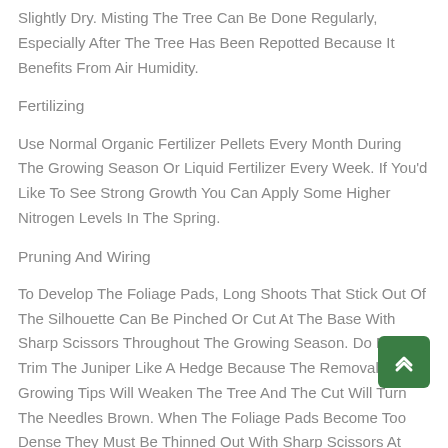Slightly Dry. Misting The Tree Can Be Done Regularly, Especially After The Tree Has Been Repotted Because It Benefits From Air Humidity.
Fertilizing
Use Normal Organic Fertilizer Pellets Every Month During The Growing Season Or Liquid Fertilizer Every Week. If You'd Like To See Strong Growth You Can Apply Some Higher Nitrogen Levels In The Spring.
Pruning And Wiring
To Develop The Foliage Pads, Long Shoots That Stick Out Of The Silhouette Can Be Pinched Or Cut At The Base With Sharp Scissors Throughout The Growing Season. Do Not Trim The Juniper Like A Hedge Because The Removal Of Growing Tips Will Weaken The Tree And The Cut Will Turn The Needles Brown. When The Foliage Pads Become Too Dense They Must Be Thinned Out With Sharp Scissors At